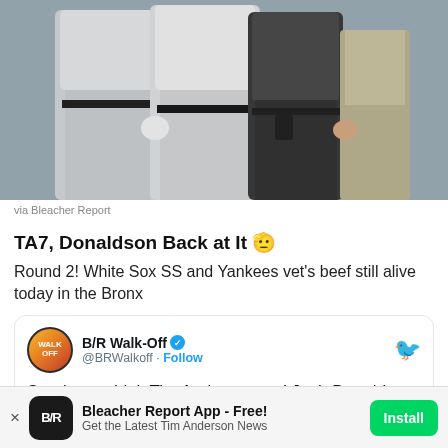[Figure (photo): Baseball players in gray uniforms being restrained, with a security/law enforcement figure in dark clothing. Scene appears to be on a baseball field.]
via Bleacher Report
TA7, Donaldson Back at It 🫡
Round 2! White Sox SS and Yankees vet's beef still alive today in the Bronx
[Figure (screenshot): Embedded tweet from B/R Walk-Off (@BRWalkoff) with verified badge and Follow button. Tweet text: Starting to think Tim Anderson and Josh Donaldson might not be best friends 😅]
Bleacher Report App - Free!
Get the Latest Tim Anderson News